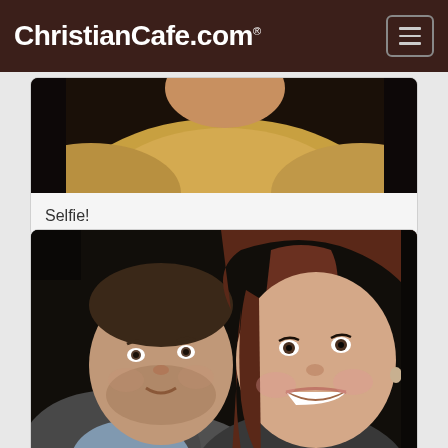ChristianCafe.com
[Figure (photo): Partial view of a selfie photo, showing shoulders and head cropped at top]
Selfie!
[Figure (photo): Couple photo: a man and a woman cheek to cheek, smiling, dark background — Paula and Luke]
Paula is all smiles after finding Luke